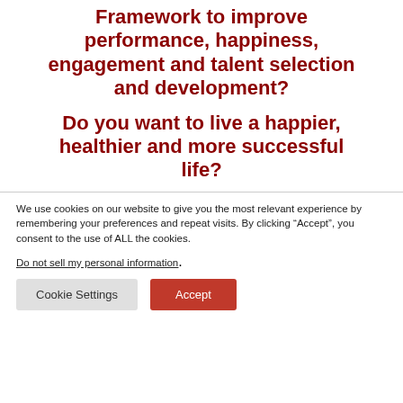Framework to improve performance, happiness, engagement and talent selection and development?
Do you want to live a happier, healthier and more successful life?
We use cookies on our website to give you the most relevant experience by remembering your preferences and repeat visits. By clicking “Accept”, you consent to the use of ALL the cookies.
Do not sell my personal information.
Cookie Settings   Accept